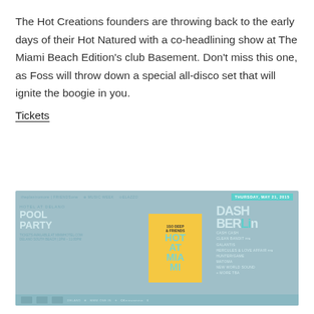The Hot Creations founders are throwing back to the early days of their Hot Natured with a co-headlining show at The Miami Beach Edition's club Basement. Don't miss this one, as Foss will throw down a special all-disco set that will ignite the boogie in you.
Tickets
[Figure (photo): Event flyer for Hot at Delano Pool Party featuring Dash Berlin, Cash Cash, Clean Bandit, Galantis, Hercules & Love Affair, Hunter/Game, Matoma, New World Sound + MORE TBA. Flyer has a teal/blue-grey color scheme with event branding.]